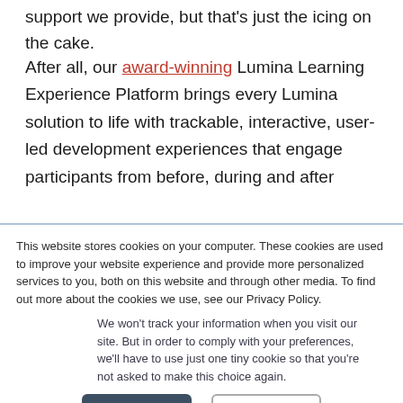support we provide, but that’s just the icing on the cake.
After all, our award-winning Lumina Learning Experience Platform brings every Lumina solution to life with trackable, interactive, user-led development experiences that engage participants from before, during and after
This website stores cookies on your computer. These cookies are used to improve your website experience and provide more personalized services to you, both on this website and through other media. To find out more about the cookies we use, see our Privacy Policy.
We won’t track your information when you visit our site. But in order to comply with your preferences, we’ll have to use just one tiny cookie so that you’re not asked to make this choice again.
Accept
Decline